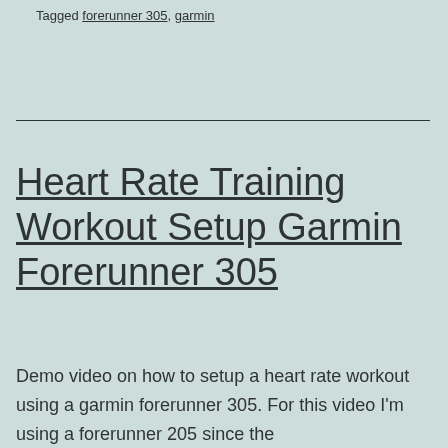Tagged forerunner 305, garmin
Heart Rate Training Workout Setup Garmin Forerunner 305
Demo video on how to setup a heart rate workout using a garmin forerunner 305. For this video I'm using a forerunner 205 since the